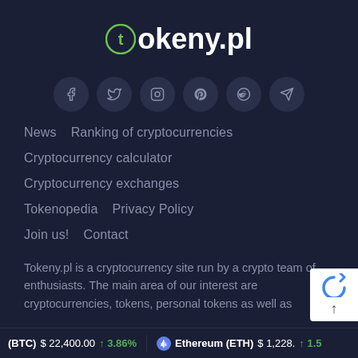[Figure (logo): Tokeny.pl logo with green circular T icon and white bold text 'okeny.pl']
[Figure (infographic): Row of 6 social media icon buttons (Facebook, Twitter, Instagram, Pinterest, Reddit, Telegram) in dark circle buttons]
News   Ranking of cryptocurrencies
Cryptocurrency calculator
Cryptocurrency exchanges
Tokenopedia   Privacy Policy
Join us!   Contact
Tokeny.pl is a cryptocurrency site run by a crypto team of enthusiasts. The main area of our interest are cryptocurrencies, tokens, personal tokens as well as
(BTC) $22,400.00 ↑ 3.86%   Ethereum (ETH) $1,228.